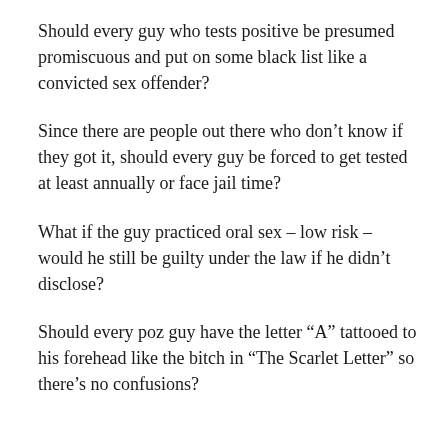Should every guy who tests positive be presumed promiscuous and put on some black list like a convicted sex offender?
Since there are people out there who don’t know if they got it, should every guy be forced to get tested at least annually or face jail time?
What if the guy practiced oral sex – low risk – would he still be guilty under the law if he didn’t disclose?
Should every poz guy have the letter “A” tattooed to his forehead like the bitch in “The Scarlet Letter” so there’s no confusions?